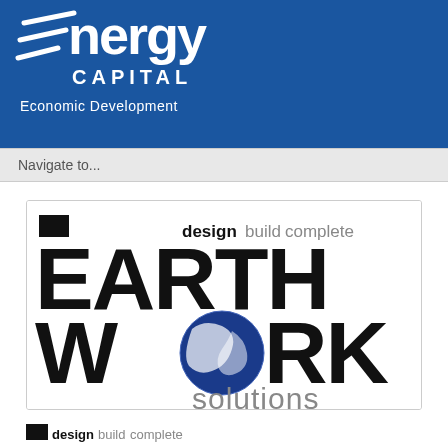[Figure (logo): Energy Capital Economic Development logo — white text on blue background with diagonal slash lines forming stylized 'E']
Navigate to...
[Figure (logo): Earthwork Solutions logo — designbuildcomplete tagline, large EARTH WORK text with globe replacing letter O, solutions in gray]
[Figure (logo): Small Earthwork Solutions logo — designbuildcomplete partial view at bottom]